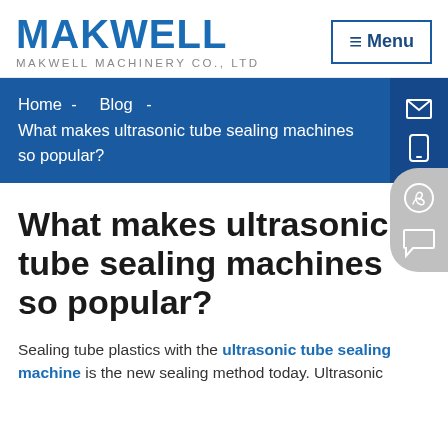MAKWELL — MAKWELL MACHINERY CO., LTD
Home - Blog - What makes ultrasonic tube sealing machines so popular?
What makes ultrasonic tube sealing machines so popular?
Sealing tube plastics with the ultrasonic tube sealing machine is the new sealing method today. Ultrasonic